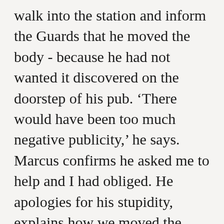walk into the station and inform the Guards that he moved the body - because he had not wanted it discovered on the doorstep of his pub. ‘There would have been too much negative publicity,’ he says. Marcus confirms he asked me to help and I had obliged. He apologies for his stupidity, explains how we moved the man with great care, reverence almost, over to the islet. The publican is conceited enough to think I helped him move the dead man in order to protect him. When I am let go from the station it is impressed upon me just what a serious offence it is to move a body from a crime scene. It’s not as if I don’t know this.